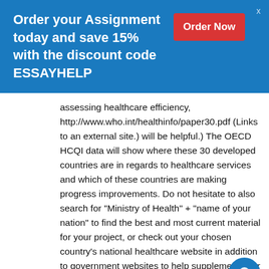Order your Assignment today and save 15% with the discount code ESSAYHELP
Order Now
assessing healthcare efficiency, http://www.who.int/healthinfo/paper30.pdf (Links to an external site.) will be helpful.) The OECD HCQI data will show where these 30 developed countries are in regards to healthcare services and which of these countries are making progress improvements. Do not hesitate to also search for “Ministry of Health” + “name of your nation” to find the best and most current material for your project, or check out your chosen country’s national healthcare website in addition to government websites to help supplement your primary sources.